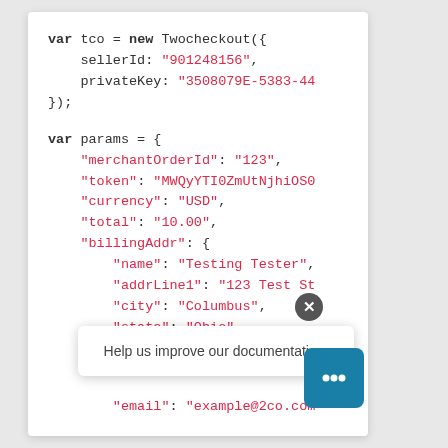[Figure (screenshot): A code snippet screenshot showing JavaScript code for Twocheckout integration with var tco and var params objects, including sellerId, privateKey, merchantOrderId, token, currency, total, billingAddr fields with name, addrLine1, city, state, email. A tooltip overlay reads 'Help us improve our documentation.' with a close button and chat widget.]